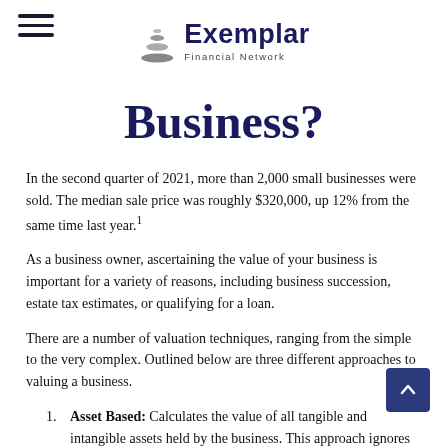Exemplar Financial Network
Business?
In the second quarter of 2021, more than 2,000 small businesses were sold. The median sale price was roughly $320,000, up 12% from the same time last year.¹
As a business owner, ascertaining the value of your business is important for a variety of reasons, including business succession, estate tax estimates, or qualifying for a loan.
There are a number of valuation techniques, ranging from the simple to the very complex. Outlined below are three different approaches to valuing a business.
Asset Based: Calculates the value of all tangible and intangible assets held by the business. This approach ignores the future earning potential of the company. Thus, a pure